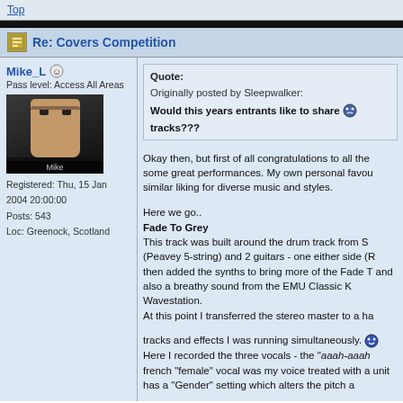Top
Re: Covers Competition
Mike_L
Pass level: Access All Areas
Registered: Thu, 15 Jan 2004 20:00:00
Posts: 543
Loc: Greenock, Scotland
Quote:
Originally posted by Sleepwalker:
Would this years entrants like to share tracks???
Okay then, but first of all congratulations to all the some great performances. My own personal favou similar liking for diverse music and styles.

Here we go..
Fade To Grey
This track was built around the drum track from S (Peavey 5-string) and 2 guitars - one either side (R then added the synths to bring more of the Fade T and also a breathy sound from the EMU Classic K Wavestation.
At this point I transferred the stereo master to a ha tracks and effects I was running simultaneously.
Here I recorded the three vocals - the "aaah-aaah french "female" vocal was my voice treated with a unit has a "Gender" setting which alters the pitch a
I dressed for the part . Again I added compressi
(This Means) Everything To Me